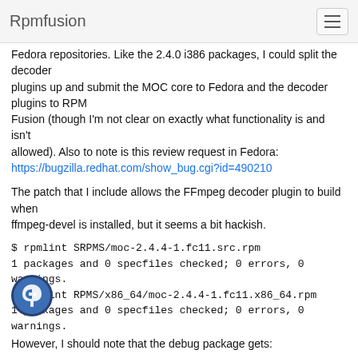Rpmfusion
Fedora repositories. Like the 2.4.0 i386 packages, I could split the decoder
plugins up and submit the MOC core to Fedora and the decoder plugins to RPM
Fusion (though I'm not clear on exactly what functionality is and isn't
allowed). Also to note is this review request in Fedora:
https://bugzilla.redhat.com/show_bug.cgi?id=490210
The patch that I include allows the FFmpeg decoder plugin to build when
ffmpeg-devel is installed, but it seems a bit hackish.
$ rpmlint SRPMS/moc-2.4.4-1.fc11.src.rpm
1 packages and 0 specfiles checked; 0 errors, 0 warnings.
$ rpmlint RPMS/x86_64/moc-2.4.4-1.fc11.x86_64.rpm
1 packages and 0 specfiles checked; 0 errors, 0 warnings.
[Figure (logo): Fedora logo - blue circle with stylized 'f' letter]
However, I should note that the debug package gets: